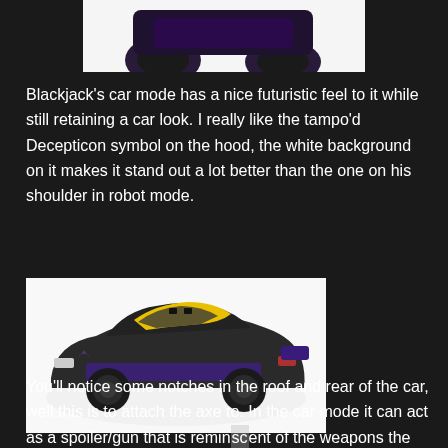[Figure (photo): Top portion of a toy figure (Blackjack) in car/robot mode showing dark purple and black parts including wheels, cropped at top of page]
Blackjack's car mode has a nice futuristic feel to it while still retaining a car look. I really like the tampo'd Decepticon symbol on the hood, the white background on it makes it stand out a lot better than the one on his shoulder in robot mode.
[Figure (photo): A toy car (Blackjack) in vehicle mode, dark grey/black with yellow accents on the roof, purple side panels and rear spoiler, side profile view on white background]
You'll notice some notches in the roof and rear of the car, well this is to attach the axe to. In the car mode it can act as a spoiler/gun that is reminiscent of the weapons the